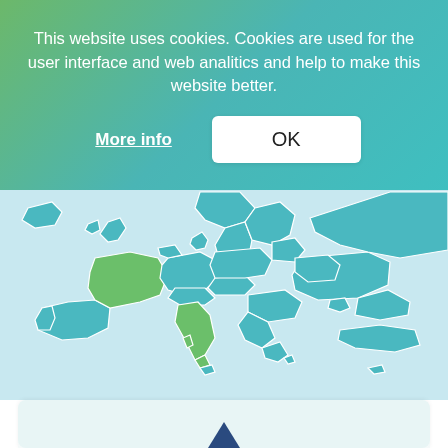This website uses cookies. Cookies are used for the user interface and web analitics and help to make this website better.
More info
OK
[Figure (map): Map of Europe showing countries highlighted in teal/blue and green colors (France, Italy and some others in green; rest in teal) on a light background]
[Figure (screenshot): Bottom card/panel partially visible, light teal background with a dark logo/icon at the bottom center]